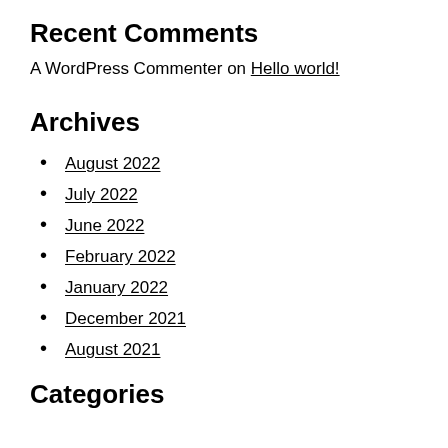Recent Comments
A WordPress Commenter on Hello world!
Archives
August 2022
July 2022
June 2022
February 2022
January 2022
December 2021
August 2021
Categories